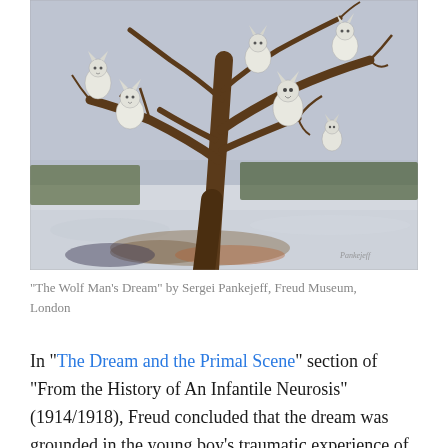[Figure (illustration): Painting titled 'The Wolf Man's Dream' by Sergei Pankejeff. An oil painting showing a bare winter tree with six white wolves sitting on its branches, set against a pale grey wintry sky with snow on the ground and a treeline in the background.]
“The Wolf Man’s Dream” by Sergei Pankejeff, Freud Museum, London
In “The Dream and the Primal Scene” section of “From the History of An Infantile Neurosis” (1914/1918), Freud concluded that the dream was grounded in the young boy’s traumatic experience of witnessing his parents having sex. Calling this the “primal scene,” Freud...